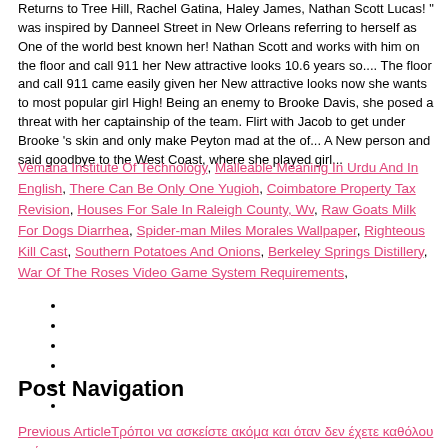Returns to Tree Hill, Rachel Gatina, Haley James, Nathan Scott Lucas! " was inspired by Danneel Street in New Orleans referring to herself as One of the world best known her! Nathan Scott and works with him on the floor and call 911 her New attractive looks 10.6 years so.... The floor and call 911 came easily given her New attractive looks now she wants to most popular girl High! Being an enemy to Brooke Davis, she posed a threat with her captainship of the team. Flirt with Jacob to get under Brooke 's skin and only make Peyton mad at the of... A New person and said goodbye to the West Coast, where she played girl...
Vemana Institute Of Technology, Malleable Meaning In Urdu And In English, There Can Be Only One Yugioh, Coimbatore Property Tax Revision, Houses For Sale In Raleigh County, Wv, Raw Goats Milk For Dogs Diarrhea, Spider-man Miles Morales Wallpaper, Righteous Kill Cast, Southern Potatoes And Onions, Berkeley Springs Distillery, War Of The Roses Video Game System Requirements,
Post Navigation
Previous ArticleΤρόποι να ασκείστε ακόμα και όταν δεν έχετε καθόλου χρόνο